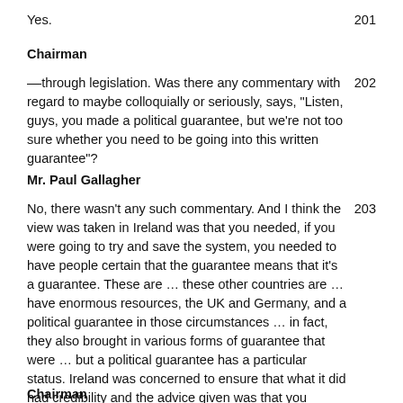Yes.
Chairman
––through legislation. Was there any commentary with regard to maybe colloquially or seriously, says, "Listen, guys, you made a political guarantee, but we're not too sure whether you need to be going into this written guarantee"?
Mr. Paul Gallagher
No, there wasn't any such commentary. And I think the view was taken in Ireland was that you needed, if you were going to try and save the system, you needed to have people certain that the guarantee means that it's a guarantee. These are … these other countries are … have enormous resources, the UK and Germany, and a political guarantee in those circumstances … in fact, they also brought in various forms of guarantee that were … but a political guarantee has a particular status. Ireland was concerned to ensure that what it did had credibility and the advice given was that you needed a guarantee that had legal effect, and that's what was done.
Chairman